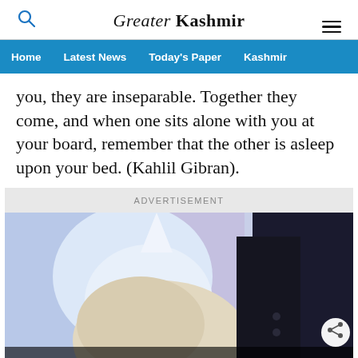Greater Kashmir
you, they are inseparable. Together they come, and when one sits alone with you at your board, remember that the other is asleep upon your bed. (Kahlil Gibran).
ADVERTISEMENT
[Figure (photo): Advertisement image showing two people, with overlaid text 'Casinos Don't Want You' and a share button icon]